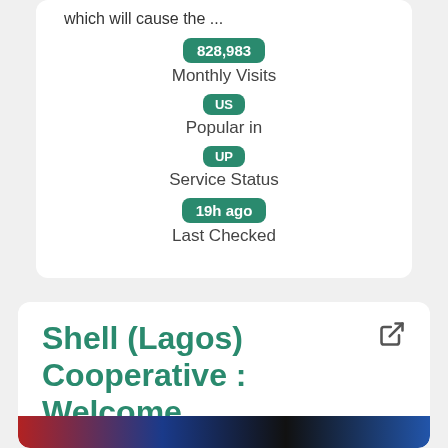which will cause the ...
828,983
Monthly Visits
US
Popular in
UP
Service Status
19h ago
Last Checked
Shell (Lagos) Cooperative : Welcome
[Figure (screenshot): Screenshot of Shell (Lagos) Cooperative website]